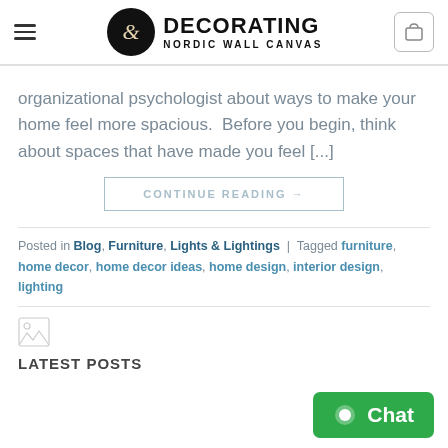DECORATING NORDIC WALL CANVAS
organizational psychologist about ways to make your home feel more spacious.  Before you begin, think about spaces that have made you feel [...]
CONTINUE READING →
Posted in Blog, Furniture, Lights & Lightings | Tagged furniture, home decor, home decor ideas, home design, interior design, lighting
[Figure (photo): Broken image placeholder icon]
LATEST POSTS
[Figure (other): Green chat button with circle icon and text 'Chat']